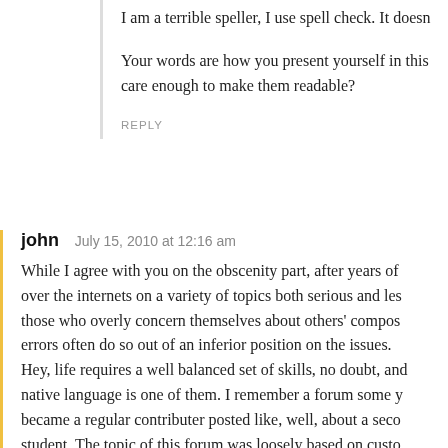I am a terrible speller, I use spell check. It doesn't
Your words are how you present yourself in this care enough to make them readable?
REPLY
john   July 15, 2010 at 12:16 am
While I agree with you on the obscenity part, after years of over the internets on a variety of topics both serious and les those who overly concern themselves about others' compos errors often do so out of an inferior position on the issues. Hey, life requires a well balanced set of skills, no doubt, and native language is one of them. I remember a forum some y became a regular contributer posted like, well, about a seco student. The topic of this forum was loosely based on custo ridiculed him, I mean really rude. Something about him ma The trolled something like they say he does and didn't do